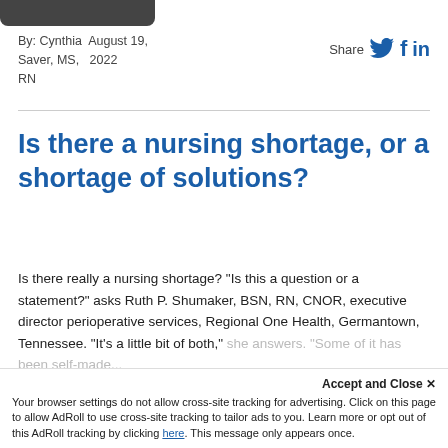[Figure (other): Dark rounded rectangle button/banner at top left]
By: Cynthia Saver, MS, RN  August 19, 2022
Share
Is there a nursing shortage, or a shortage of solutions?
Is there really a nursing shortage? "Is this a question or a statement?" asks Ruth P. Shumaker, BSN, RN, CNOR, executive director perioperative services, Regional One Health, Germantown, Tennessee. "It's a little bit of both," she answers. "Some of it has been self-made..."
Accept and Close ×
Your browser settings do not allow cross-site tracking for advertising. Click on this page to allow AdRoll to use cross-site tracking to tailor ads to you. Learn more or opt out of this AdRoll tracking by clicking here. This message only appears once.